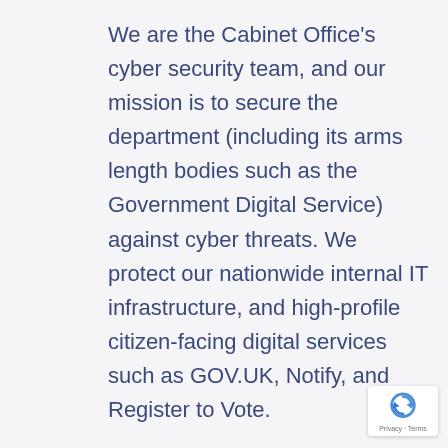We are the Cabinet Office's cyber security team, and our mission is to secure the department (including its arms length bodies such as the Government Digital Service) against cyber threats. We protect our nationwide internal IT infrastructure, and high-profile citizen-facing digital services such as GOV.UK, Notify, and Register to Vote.
The Security Engineering team is responsible for building, configuring and maintaining the tooling and infrastructure which enables the wider